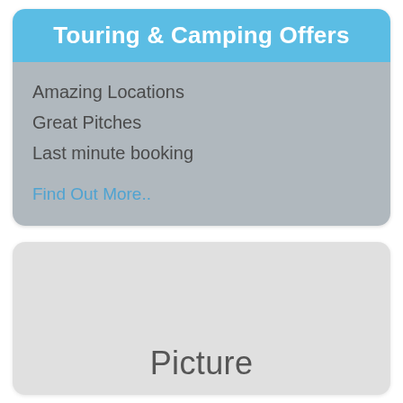Touring & Camping Offers
Amazing Locations
Great Pitches
Last minute booking
Find Out More..
[Figure (photo): A placeholder image card with the word 'Picture' displayed in large grey text on a light grey background.]